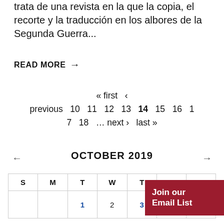trata de una revista en la que la copia, el recorte y la traducción en los albores de la Segunda Guerra...
READ MORE →
« first ‹ previous 10 11 12 13 14 15 16 17 18 … next › last »
← OCTOBER 2019 →
| S | M | T | W | T | F | S |
| --- | --- | --- | --- | --- | --- | --- |
|  |  | 1 | 2 | 3 | 4 | 5 |
Join our Email List